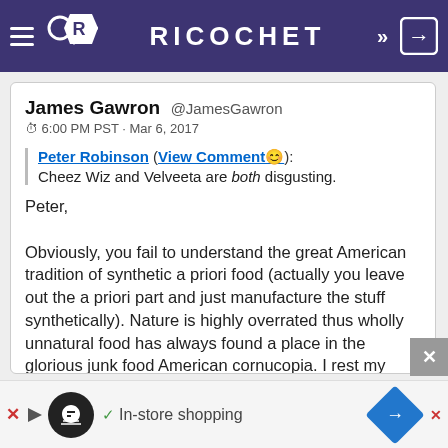RICOCHET
James Gawron @JamesGawron
⌚ 6:00 PM PST · Mar 6, 2017

Peter Robinson (View Comment😉):
Cheez Wiz and Velveeta are both disgusting.

Peter,

Obviously, you fail to understand the great American tradition of synthetic a priori food (actually you leave out the a priori part and just manufacture the stuff synthetically). Nature is highly overrated thus wholly unnatural food has always found a place in the glorious junk food American cornucopia. I rest my case (it's a good thing too because I have a severe
[Figure (screenshot): Advertisement banner with logo, checkmark, 'In-store shopping' text, and blue diamond arrow icon]